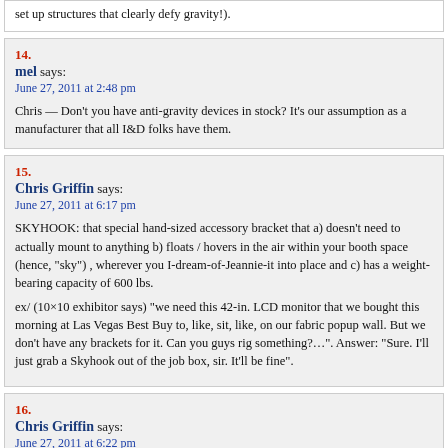set up structures that clearly defy gravity!).
14.
mel says:
June 27, 2011 at 2:48 pm
Chris — Don't you have anti-gravity devices in stock? It's our assumption as a manufacturer that all I&D folks have them.
15.
Chris Griffin says:
June 27, 2011 at 6:17 pm
SKYHOOK: that special hand-sized accessory bracket that a) doesn't need to actually mount to anything b) floats / hovers in the air within your booth space (hence, "sky") , wherever you I-dream-of-Jeannie-it into place and c) has a weight-bearing capacity of 600 lbs.
ex/ (10×10 exhibitor says) "we need this 42-in. LCD monitor that we bought this morning at Las Vegas Best Buy to, like, sit, like, on our fabric popup wall. But we don't have any brackets for it. Can you guys rig something?...". Answer: "Sure. I'll just grab a Skyhook out of the job box, sir. It'll be fine".
16.
Chris Griffin says:
June 27, 2011 at 6:22 pm